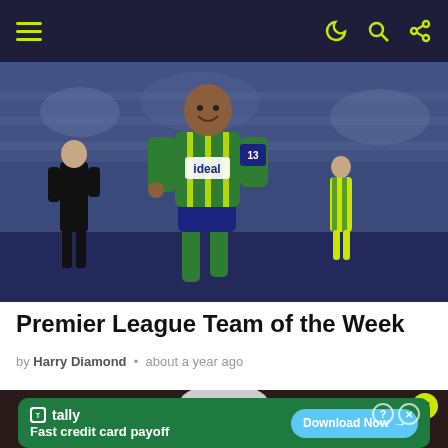Navigation bar with hamburger menu and icons
[Figure (photo): Soccer player wearing a green and yellow striped West Brom jersey with 'ideal' sponsor, running on a football pitch. A referee in black is visible to the left, another player in background to the right.]
Premier League Team of the Week
by Harry Diamond • about a year ago
[Figure (photo): Partial view of a person, appears to be an older man, dark background.]
[Figure (screenshot): Advertisement banner for Tally app: 'Fast credit card payoff' with a 'Download Now' button.]